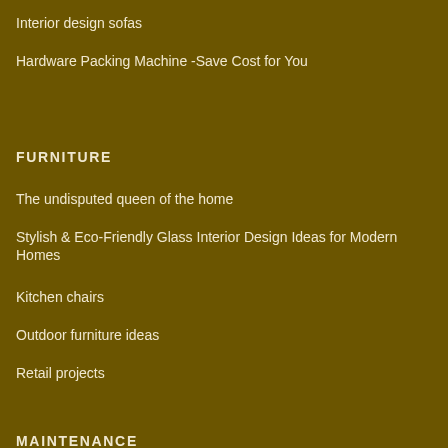Interior design sofas
Hardware Packing Machine -Save Cost for You
FURNITURE
The undisputed queen of the home
Stylish & Eco-Friendly Glass Interior Design Ideas for Modern Homes
Kitchen chairs
Outdoor furniture ideas
Retail projects
MAINTENANCE